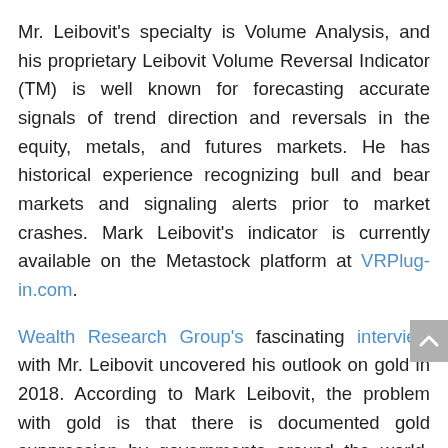Mr. Leibovit's specialty is Volume Analysis, and his proprietary Leibovit Volume Reversal Indicator (TM) is well known for forecasting accurate signals of trend direction and reversals in the equity, metals, and futures markets. He has historical experience recognizing bull and bear markets and signaling alerts prior to market crashes. Mark Leibovit's indicator is currently available on the Metastock platform at VRPlug-in.com.
Wealth Research Group's fascinating interview with Mr. Leibovit uncovered his outlook on gold in 2018. According to Mark Leibovit, the problem with gold is that there is documented gold suppression by governments around the world, and unfortunately we don't have a free market in gold due to the intervention, suppression, and manipulation that is occurring. We have the lending of gold that doesn't exist, and we have gold and silver contracts being